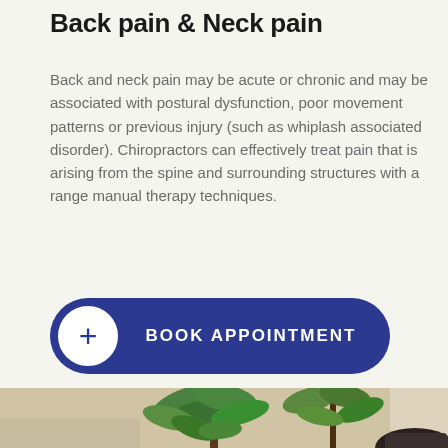Back pain & Neck pain
Back and neck pain may be acute or chronic and may be associated with postural dysfunction, poor movement patterns or previous injury (such as whiplash associated disorder). Chiropractors can effectively treat pain that is arising from the spine and surrounding structures with a range manual therapy techniques.
BOOK APPOINTMENT
[Figure (photo): Photo of a person near a green plant in a clinical/office setting, partially visible at the bottom of the page.]